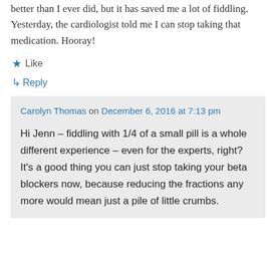better than I ever did, but it has saved me a lot of fiddling. Yesterday, the cardiologist told me I can stop taking that medication. Hooray!
★ Like
↪ Reply
Carolyn Thomas on December 6, 2016 at 7:13 pm
Hi Jenn – fiddling with 1/4 of a small pill is a whole different experience – even for the experts, right? It's a good thing you can just stop taking your beta blockers now, because reducing the fractions any more would mean just a pile of little crumbs.